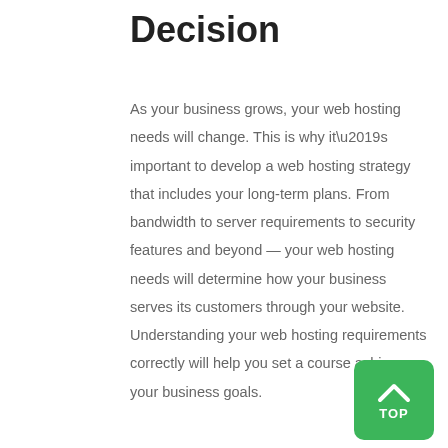Decision
As your business grows, your web hosting needs will change. This is why it’s important to develop a web hosting strategy that includes your long-term plans. From bandwidth to server requirements to security features and beyond — your web hosting needs will determine how your business serves its customers through your website. Understanding your web hosting requirements correctly will help you set a course achieve your business goals.